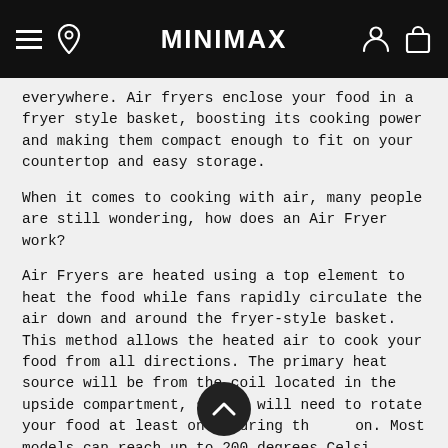MINIMAX
everywhere. Air fryers enclose your food in a fryer style basket, boosting its cooking power and making them compact enough to fit on your countertop and easy storage.
When it comes to cooking with air, many people are still wondering, how does an Air Fryer work?
Air Fryers are heated using a top element to heat the food while fans rapidly circulate the air down and around the fryer-style basket. This method allows the heated air to cook your food from all directions. The primary heat source will be from the coil located in the upside compartment, so you will need to rotate your food at least once during the cooking. Most models can reach up to 200 degrees Celsius within just a few minutes.